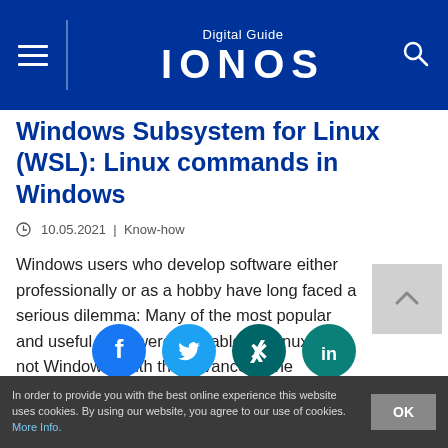Digital Guide IONOS
Windows Subsystem for Linux (WSL): Linux commands in Windows
10.05.2021  |  Know-how
Windows users who develop software either professionally or as a hobby have long faced a serious dilemma: Many of the most popular and useful tools were available on Linux, but not Windows. With the advance of the Windows Subsystem for Linux, the situation changed. Now, Windows users can also access the wide variety of Linux tools.
[Figure (infographic): Social sharing icons: Facebook (blue circle), Twitter (light blue circle), Xing (dark teal circle), LinkedIn (teal circle)]
In order to provide you with the best online experience this website uses cookies. By using our website, you agree to our use of cookies. More Info.